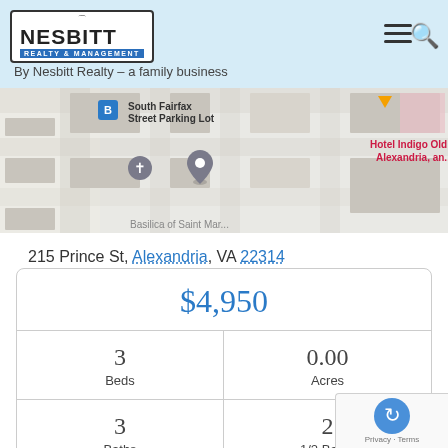Nesbitt Realty & Management — By Nesbitt Realty – a family business
[Figure (map): Google Maps snippet showing area near 215 Prince St, Alexandria, VA with South Fairfax Street Parking Lot, Hotel Indigo Old Town Alexandria, church pin, and location pin visible]
215 Prince St, Alexandria, VA 22314
|  |  |
| --- | --- |
| $4,950 |  |
| 3 Beds | 0.00 Acres |
| 3 Baths | 2 1/2 Baths |
| 2,010 | 2 |